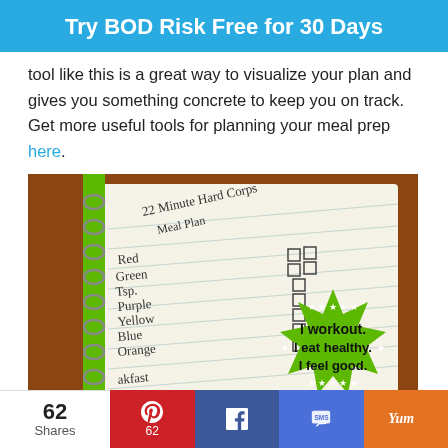Try BOD Risk Free for 30 Days
tool like this is a great way to visualize your plan and gives you something concrete to keep you on track. Get more useful tools for planning your meal prep here.
[Figure (photo): A spiral notebook with '22 Minute Hard Corps Meal Plan' written on it, listing food categories (Red, Green, Tsp., Purple, Yellow, Blue, Orange) with checkboxes. A green starburst badge reads 'I workout. I eat healthy. I feel good.']
62 Shares | Pinterest 62 | Facebook | SMS | Yummly